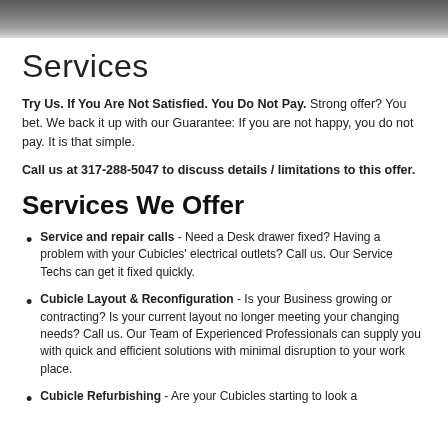Services
Try Us. If You Are Not Satisfied. You Do Not Pay. Strong offer? You bet. We back it up with our Guarantee: If you are not happy, you do not pay. It is that simple.
Call us at 317-288-5047 to discuss details / limitations to this offer.
Services We Offer
Service and repair calls - Need a Desk drawer fixed? Having a problem with your Cubicles' electrical outlets? Call us. Our Service Techs can get it fixed quickly.
Cubicle Layout & Reconfiguration - Is your Business growing or contracting? Is your current layout no longer meeting your changing needs? Call us. Our Team of Experienced Professionals can supply you with quick and efficient solutions with minimal disruption to your work place.
Cubicle Refurbishing - Are your Cubicles starting to look a...